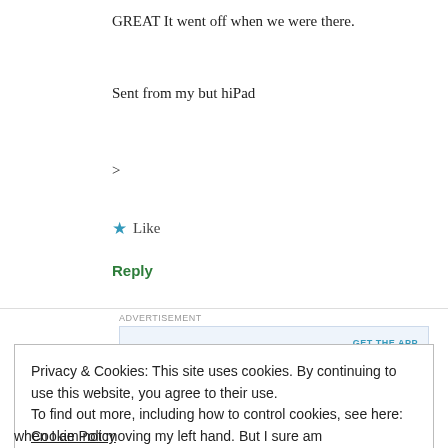GREAT It went off when we were there.
Sent from my but hiPad
>
★ Like
Reply
[Figure (infographic): Advertisement banner: 'Build a writing habit. Post on the go.' with GET THE APP button and WordPress logo]
REPORT THIS AD
Privacy & Cookies: This site uses cookies. By continuing to use this website, you agree to their use.
To find out more, including how to control cookies, see here: Cookie Policy
Close and accept
when I am not moving my left hand. But I sure am